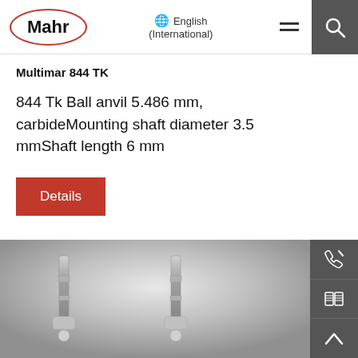Mahr — English (International)
Multimar 844 TK
844 Tk Ball anvil 5.486 mm, carbideMounting shaft diameter 3.5 mmShaft length 6 mm
Details
[Figure (photo): Bottom portion of a Multimar 844 TK product photo showing two measuring instrument heads/anvils on a grey gradient background]